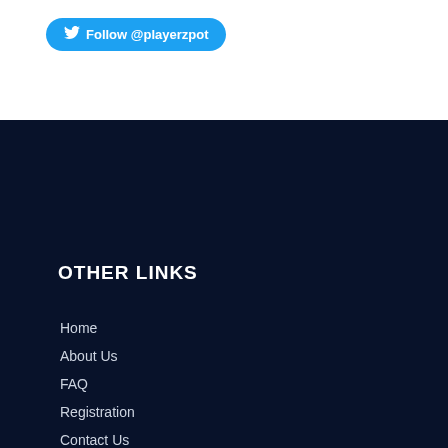[Figure (other): Twitter Follow button with bird icon and text 'Follow @playerzpot' on a cyan/blue rounded rectangle button]
OTHER LINKS
Home
About Us
FAQ
Registration
Contact Us
KNOW MORE
Terms & Conditions